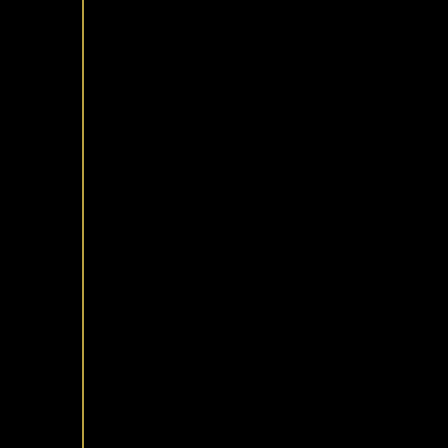was nearby.
Hmm don't remember any textual evidence to suggest one way or the other but unless the Nazgul discovered that he actually hosted Baggins that day I don't think they would care too much about him and wouldn't be bothered to harm him. It's possible that they sensed the Ring move eastwards as the hobbits followed Merry over the Brandywine and left Maggot's shore alone. It's possible they lost scent before coming upon the house in Crickhollow when Fatty Bolger was alone there, and they might continue to interview hobbits about Baggins, in which case Maggot could pretend to not know anything of value like all the other folk. It's possible that they would spot the lie but I think Maggot has enough presence of mind in a crisis to get his portrayal